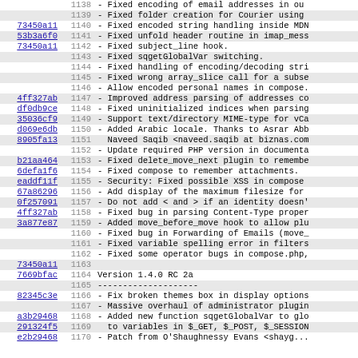1138 - Fixed encoding of email addresses in ou
1139 - Fixed folder creation for Courier using
73450a11 1140 - Fixed encoded string handling inside MDN
53b3a6f0 1141 - Fixed unfold header routine in imap_mess
73450a11 1142 - Fixed subject_line hook.
1143 - Fixed sqgetGlobalVar switching.
1144 - Fixed handling of encoding/decoding stri
1145 - Fixed wrong array_slice call for a subse
1146 - Allow encoded personal names in compose.
4ff327ab 1147 - Improved address parsing of addresses co
df0db9ce 1148 - Fixed uninitialized indices when parsing
35036cf9 1149 - Support text/directory MIME-type for vCa
d069e6db 1150 - Added Arabic locale. Thanks to Asrar Abb
8905fa13 1151   Naveed Saqib <naveed.saqib at biznas.com
1152 - Update required PHP version in documenta
b21aa464 1153 - Fixed delete_move_next plugin to remembe
6defa1f6 1154 - Fixed compose to remember attachments.
eaddf11f 1155 - Security: Fixed possible XSS in compose
67a86296 1156 - Add display of the maximum filesize for
0f257091 1157 - Do not add < and > if an identity doesn'
4ff327ab 1158 - Fixed bug in parsing Content-Type proper
3a877e87 1159 - Added move_before_move hook to allow plu
1160 - Fixed bug in Forwarding of Emails (move_
1161 - Fixed variable spelling error in filters
1162 - Fixed some operator bugs in compose.php,
73450a11 1163
7669bfac 1164 Version 1.4.0 RC 2a
1165 --------------------
82345c3e 1166 - Fix broken themes box in display options
1167 - Massive overhaul of administrator plugin
a3b29468 1168 - Added new function sqgetGlobalVar to glo
291324f5 1169   to variables in $_GET, $_POST, $_SESSION
1170 - Patch from O'Shaughnessy Evans <shayg...